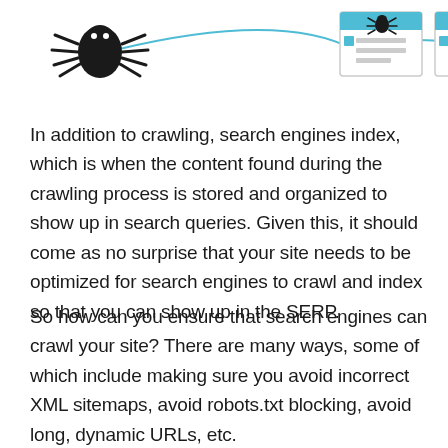[Figure (illustration): A web crawling diagram showing a spider icon on the left connected by curved lines to two browser/webpage icons (with blue header bars and text lines) representing the crawling process across web pages.]
In addition to crawling, search engines index, which is when the content found during the crawling process is stored and organized to show up in search queries. Given this, it should come as no surprise that your site needs to be optimized for search engines to crawl and index so that you can show up in the SERP.
So how can you ensure that search engines can crawl your site? There are many ways, some of which include making sure you avoid incorrect XML sitemaps, avoid robots.txt blocking, avoid long, dynamic URLs, etc.